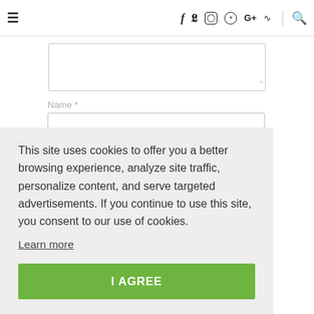≡  f  y  ⊙  ⊕  G+  )))  🔍
[Figure (screenshot): Web form with a textarea and a Name input field]
This site uses cookies to offer you a better browsing experience, analyze site traffic, personalize content, and serve targeted advertisements. If you continue to use this site, you consent to our use of cookies.
Learn more
I AGREE
your comment data is processed.